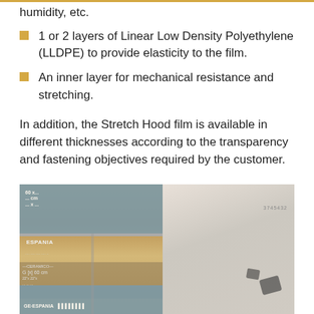humidity, etc.
1 or 2 layers of Linear Low Density Polyethylene (LLDPE) to provide elasticity to the film.
An inner layer for mechanical resistance and stretching.
In addition, the Stretch Hood film is available in different thicknesses according to the transparency and fastening objectives required by the customer.
[Figure (photo): Photograph of pallets wrapped with stretch hood film, showing cardboard boxes with ESPANIA branding stacked on the left side and white/grey stretch-hooded pallets on the right side inside a warehouse or storage area.]